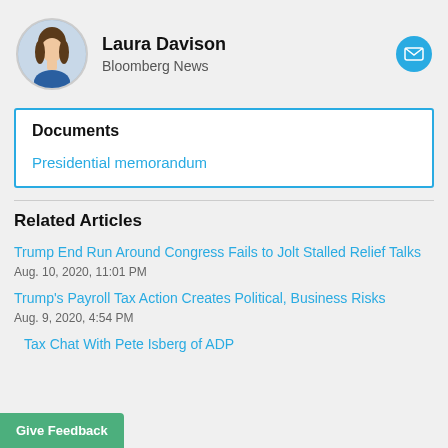[Figure (photo): Circular avatar photo of Laura Davison]
Laura Davison
Bloomberg News
[Figure (illustration): Blue circular email icon button]
Documents
Presidential memorandum
Related Articles
Trump End Run Around Congress Fails to Jolt Stalled Relief Talks
Aug. 10, 2020, 11:01 PM
Trump's Payroll Tax Action Creates Political, Business Risks
Aug. 9, 2020, 4:54 PM
Tax Chat With Pete Isberg of ADP